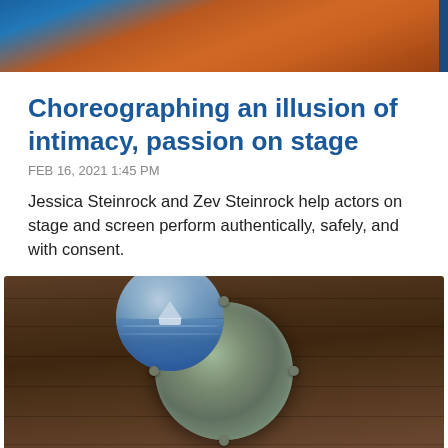[Figure (photo): Top partial image showing warm orange/red tones, cropped at top of page]
Choreographing an illusion of intimacy, passion on stage
FEB 16, 2021 1:45 PM
Jessica Steinrock and Zev Steinrock help actors on stage and screen perform authentically, safely, and with consent.
[Figure (photo): Photograph of a ship porthole mounted on a wooden wall, showing ocean and iceberg through the glass]